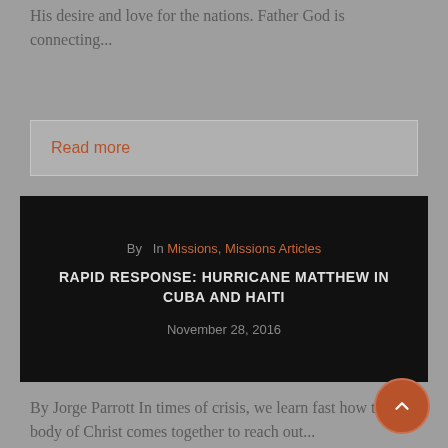His desire and love for the nations. Father God is connecting...
Read more
By  In Missions, Missions Articles
RAPID RESPONSE: HURRICANE MATTHEW IN CUBA AND HAITI
November 28, 2016
By Jorge Parrott In times of crisis, we learn fast how the body of Christ comes together to reach out...
Read more